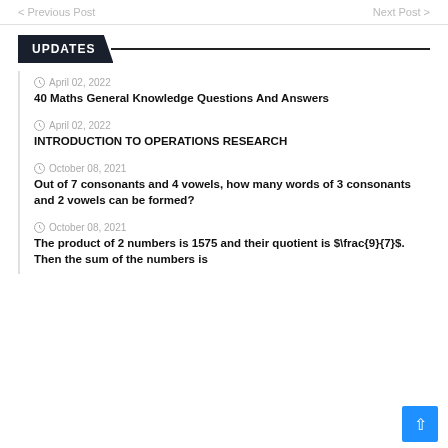< Previous Post    Next Post >
UPDATES
April 02, 2022
40 Maths General Knowledge Questions And Answers
April 02, 2022
INTRODUCTION TO OPERATIONS RESEARCH
October 08, 2021
Out of 7 consonants and 4 vowels, how many words of 3 consonants and 2 vowels can be formed?
October 08, 2021
The product of 2 numbers is 1575 and their quotient is $\frac{9}{7}$. Then the sum of the numbers is